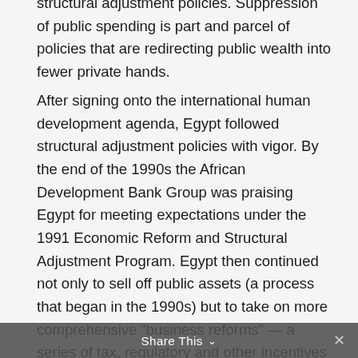structural adjustment policies. Suppression of public spending is part and parcel of policies that are redirecting public wealth into fewer private hands.
After signing onto the international human development agenda, Egypt followed structural adjustment policies with vigor. By the end of the 1990s the African Development Bank Group was praising Egypt for meeting expectations under the 1991 Economic Reform and Structural Adjustment Program. Egypt then continued not only to sell off public assets (a process that began in the 1990s) but to take on more comprehensive “business reforms” — a series of tax, regulatory and other incentives to streamline private sector investment. In this
Share This